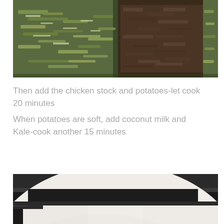[Figure (photo): Overhead view of chopped green vegetables (kale/onion) and ground meat in a pan]
Then add the chicken stock and potatoes-let cook 20 minutes
When potatoes are soft, add coconut milk and Kale-cook another 15 minutes
[Figure (photo): Close-up of a white pot/bowl with creamy liquid (coconut milk soup) being poured or stirred]